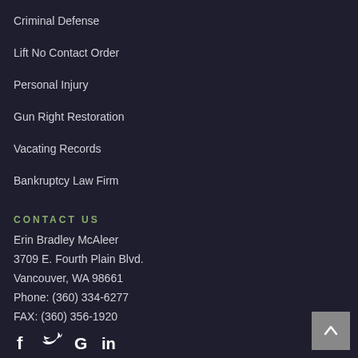Criminal Defense
Lift No Contact Order
Personal Injury
Gun Right Restoration
Vacating Records
Bankruptcy Law Firm
CONTACT US
Erin Bradley McAleer
3709 E. Fourth Plain Blvd.
Vancouver, WA 98661
Phone: (360) 334-6277
FAX: (360) 356-1920
[Figure (other): Social media icons: Facebook, Twitter, Google, LinkedIn]
[Figure (other): Back to top button with upward arrow]